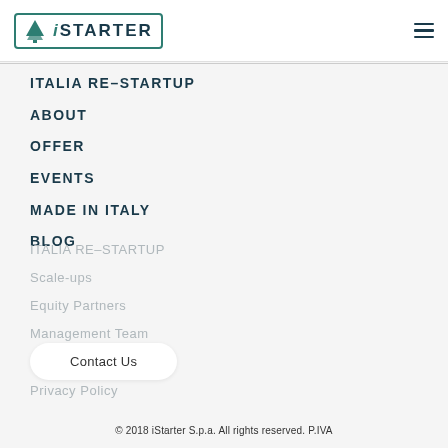[Figure (logo): iSTARTER logo with green tree icon and teal border]
ITALIA RE-STARTUP
ABOUT
OFFER
EVENTS
MADE IN ITALY
BLOG
ITALIA RE-STARTUP
Scale-ups
Equity Partners
Management Team
Upcoming App
Privacy Policy
Contact Us
© 2018 iStarter S.p.a. All rights reserved. P.IVA